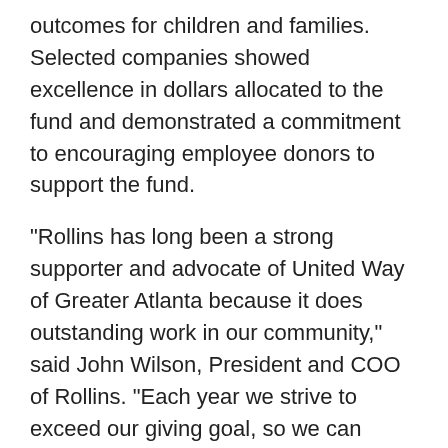outcomes for children and families. Selected companies showed excellence in dollars allocated to the fund and demonstrated a commitment to encouraging employee donors to support the fund.
"Rollins has long been a strong supporter and advocate of United Way of Greater Atlanta because it does outstanding work in our community," said John Wilson, President and COO of Rollins. "Each year we strive to exceed our giving goal, so we can increase the impact the United Way can make."
Jerry Gahlhoff, President of Rollins Specialty Brands and VP of Human Resources added,